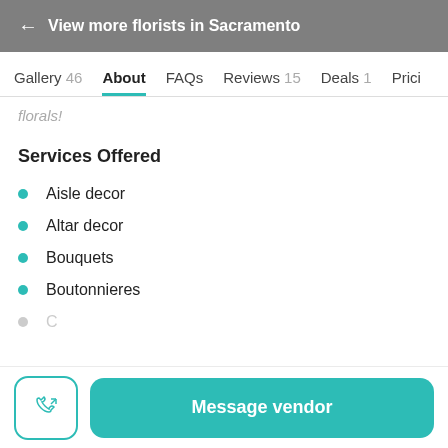← View more florists in Sacramento
Gallery 46   About   FAQs   Reviews 15   Deals 1   Prici
florals!
Services Offered
Aisle decor
Altar decor
Bouquets
Boutonnieres
Message vendor